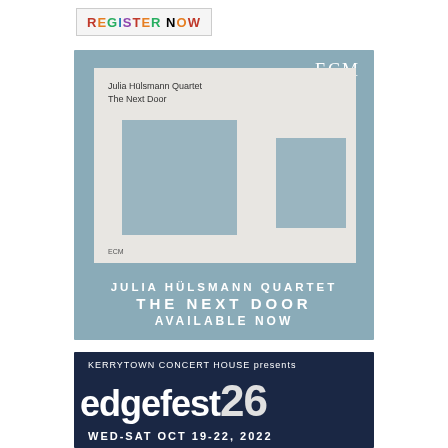[Figure (logo): REGISTER NOW button with multicolored letters on light gray background]
[Figure (illustration): ECM Records advertisement for Julia Hülsmann Quartet - The Next Door album. Steel blue background with album cover showing abstract gray rectangles on light paper. Text reads: JULIA HÜLSMANN QUARTET / THE NEXT DOOR / AVAILABLE NOW]
[Figure (illustration): Kerrytown Concert House presents edgefest 26 advertisement. Dark navy background with large white edgefest 26 text and WED-SAT OCT 19-22, 2022 below]